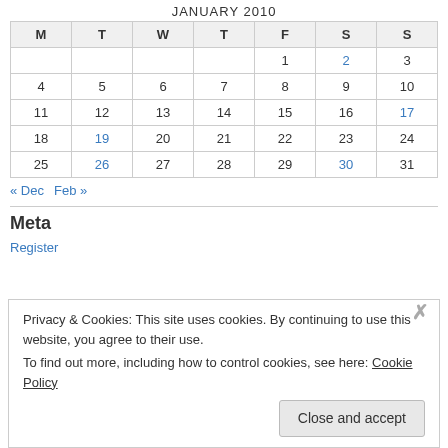JANUARY 2010
| M | T | W | T | F | S | S |
| --- | --- | --- | --- | --- | --- | --- |
|  |  |  |  | 1 | 2 | 3 |
| 4 | 5 | 6 | 7 | 8 | 9 | 10 |
| 11 | 12 | 13 | 14 | 15 | 16 | 17 |
| 18 | 19 | 20 | 21 | 22 | 23 | 24 |
| 25 | 26 | 27 | 28 | 29 | 30 | 31 |
« Dec   Feb »
Meta
Register
Privacy & Cookies: This site uses cookies. By continuing to use this website, you agree to their use. To find out more, including how to control cookies, see here: Cookie Policy
Close and accept